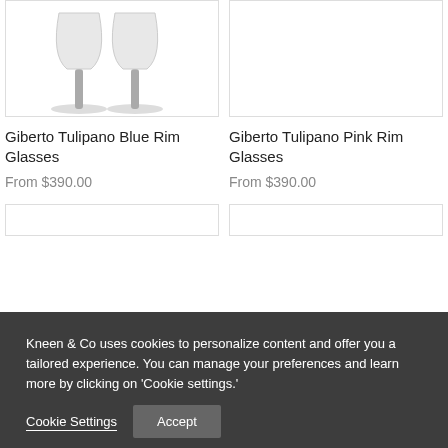[Figure (photo): Two wine glasses (Giberto Tulipano Blue Rim Glasses) with silver/grey stems on white background]
[Figure (photo): Product image placeholder for Giberto Tulipano Pink Rim Glasses (empty/white)]
Giberto Tulipano Blue Rim Glasses
From $390.00
Giberto Tulipano Pink Rim Glasses
From $390.00
Kneen & Co uses cookies to personalize content and offer you a tailored experience. You can manage your preferences and learn more by clicking on 'Cookie settings.'
Cookie Settings
Accept